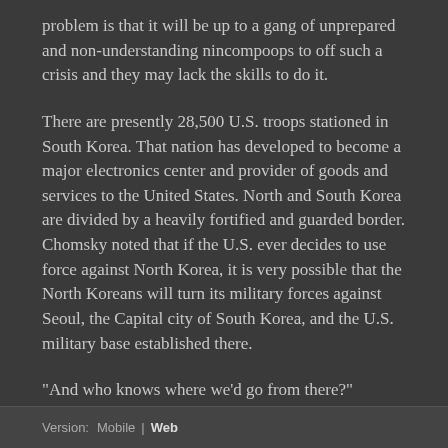problem is that it will be up to a gang of unprepared and non-understanding nincompoops to off such a crisis and they may lack the skills to do it.
There are presently 28,500 U.S. troops stationed in South Korea. That nation has developed to become a major electronics center and provider of goods and services to the United States. North and South Korea are divided by a heavily fortified and guarded border. Chomsky noted that if the U.S. ever decides to use force against North Korea, it is very possible that the North Koreans will turn its military forces against Seoul, the Capital city of South Korea, and the U.S. military base established there.
"And who knows where we'd go from there?" Chomsky asked.
Version: Mobile | Web